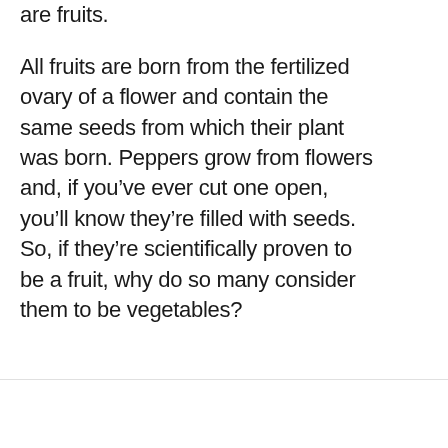are fruits.
All fruits are born from the fertilized ovary of a flower and contain the same seeds from which their plant was born. Peppers grow from flowers and, if you’ve ever cut one open, you’ll know they’re filled with seeds. So, if they’re scientifically proven to be a fruit, why do so many consider them to be vegetables?